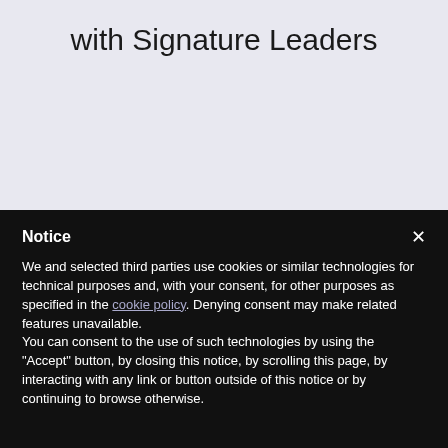with Signature Leaders
Notice
We and selected third parties use cookies or similar technologies for technical purposes and, with your consent, for other purposes as specified in the cookie policy. Denying consent may make related features unavailable.
You can consent to the use of such technologies by using the "Accept" button, by closing this notice, by scrolling this page, by interacting with any link or button outside of this notice or by continuing to browse otherwise.
Accept
Learn more and customize